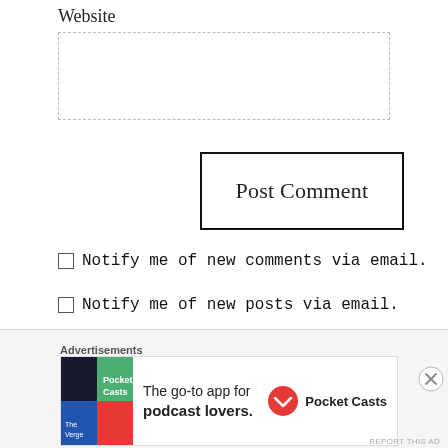Website
[Figure (screenshot): Empty text input field with dashed border for website URL entry]
[Figure (screenshot): Post Comment button with thick black border]
☐ Notify me of new comments via email.
☐ Notify me of new posts via email.
[Figure (screenshot): Advertisement banner: Pocket Casts - The go-to app for podcast lovers.]